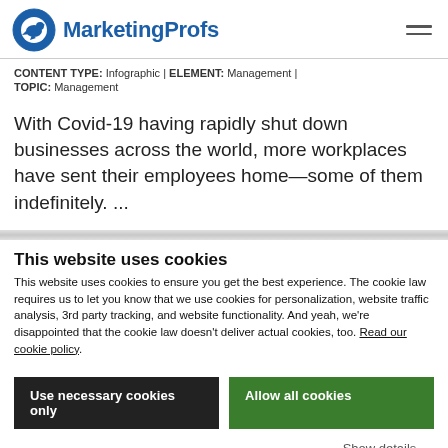MarketingProfs
CONTENT TYPE: Infographic | ELEMENT: Management | TOPIC: Management
With Covid-19 having rapidly shut down businesses across the world, more workplaces have sent their employees home—some of them indefinitely. ...
This website uses cookies
This website uses cookies to ensure you get the best experience. The cookie law requires us to let you know that we use cookies for personalization, website traffic analysis, 3rd party tracking, and website functionality. And yeah, we're disappointed that the cookie law doesn't deliver actual cookies, too. Read our cookie policy.
Use necessary cookies only | Allow all cookies
Show details